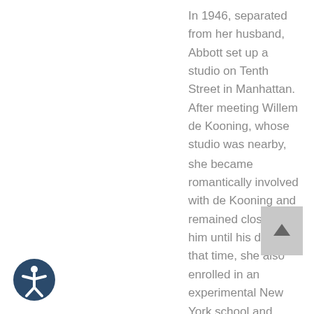In 1946, separated from her husband, Abbott set up a studio on Tenth Street in Manhattan. After meeting Willem de Kooning, whose studio was nearby, she became romantically involved with de Kooning and remained close with him until his death. At that time, she also enrolled in an experimental New York school and worked with founding artists Robert Motherwell, Mark Rothko, Barnett Newman, William Baziotes and David Hare. Through these associations Abbott moved into the